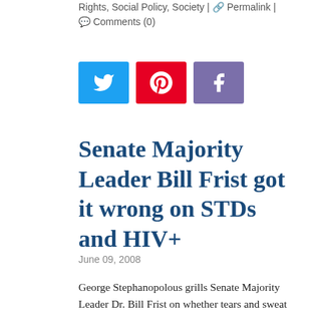Rights, Social Policy, Society | Permalink | Comments (0)
[Figure (other): Social media share buttons: Twitter (blue), Pinterest (red), Facebook (purple)]
Senate Majority Leader Bill Frist got it wrong on STDs and HIV+
June 09, 2008
George Stephanopolous grills Senate Majority Leader Dr. Bill Frist on whether tears and sweat transmit HIV. Stephanopolous also grills him on abstinence based programs' effectiveness.